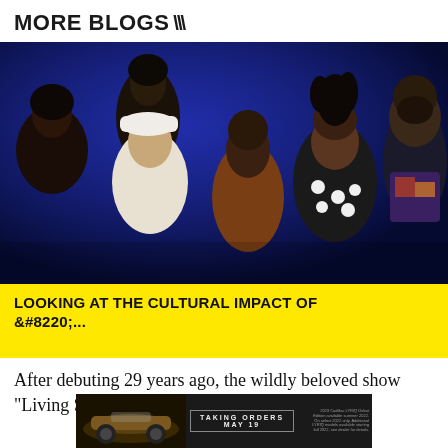MORE BLOGS >>>
[Figure (photo): Group photo of six people posing together against a blue background, dressed in 1990s fashion clothing.]
LOOKING AT THE CULTURAL IMPACT OF &#8220;...
After debuting 29 years ago, the wildly beloved show "Living Single" has not only
[Figure (photo): Advertisement banner for 2023 Cadillac LYRIQ showing a dark car with text TAKING ORDERS MAY 19]